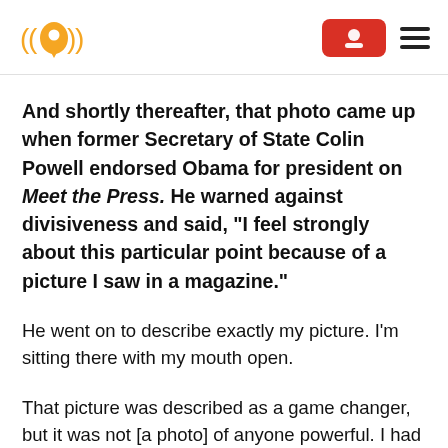[Logo: radio/location icon] [Subscribe button] [Hamburger menu]
And shortly thereafter, that photo came up when former Secretary of State Colin Powell endorsed Obama for president on Meet the Press. He warned against divisiveness and said, “I feel strongly about this particular point because of a picture I saw in a magazine.”
He went on to describe exactly my picture. I’m sitting there with my mouth open.
That picture was described as a game changer, but it was not [a photo] of anyone powerful. I had